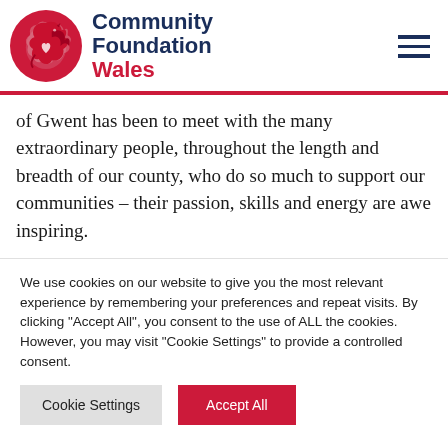[Figure (logo): Community Foundation Wales logo with red dragon in circle and dark navy text 'Community Foundation Wales']
of Gwent has been to meet with the many extraordinary people, throughout the length and breadth of our county, who do so much to support our communities – their passion, skills and energy are awe inspiring.
We use cookies on our website to give you the most relevant experience by remembering your preferences and repeat visits. By clicking "Accept All", you consent to the use of ALL the cookies. However, you may visit "Cookie Settings" to provide a controlled consent.